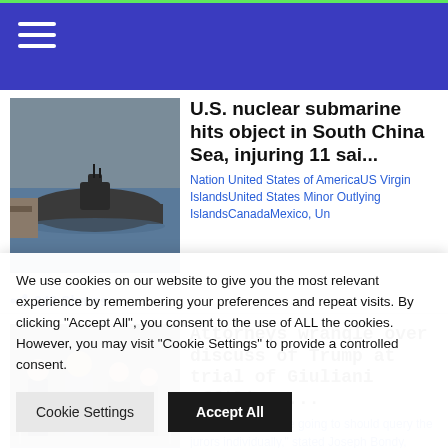Navigation header with hamburger menu
U.S. nuclear submarine hits object in South China Sea, injuring 11 sai...
Nation United States of AmericaUS Virgin IslandsUnited States Minor Outlying IslandsCanadaMexico, Un
249 Shares
Attorneys wrangle over discuss of Trump at trial of Giuliani affiliate...
“I do suppose we’re going to should query the jurors individually,” stated Joseph Bondy, Parna
We use cookies on our website to give you the most relevant experience by remembering your preferences and repeat visits. By clicking “Accept All”, you consent to the use of ALL the cookies. However, you may visit "Cookie Settings" to provide a controlled consent.